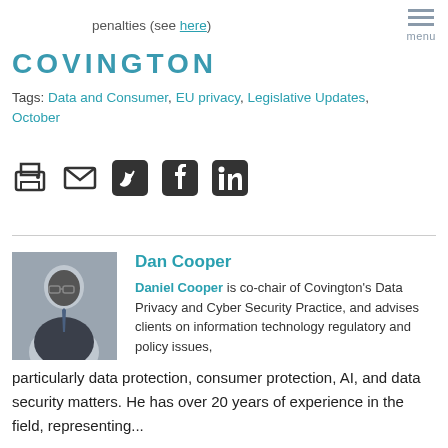penalties (see here)
Tags: Data and Consumer, EU privacy, Legislative Updates, October
[Figure (infographic): Social sharing icons: print, email, Twitter, Facebook, LinkedIn]
[Figure (photo): Portrait photo of Dan Cooper, a bald man wearing glasses and a suit]
Dan Cooper
Daniel Cooper is co-chair of Covington's Data Privacy and Cyber Security Practice, and advises clients on information technology regulatory and policy issues, particularly data protection, consumer protection, AI, and data security matters. He has over 20 years of experience in the field, representing...